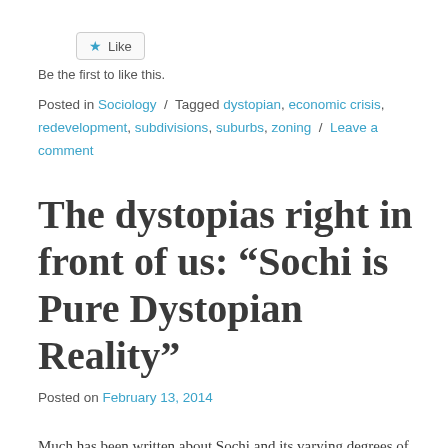[Figure (other): Like button with a blue star icon and the word Like, inside a rounded rectangle border]
Be the first to like this.
Posted in Sociology / Tagged dystopian, economic crisis, redevelopment, subdivisions, suburbs, zoning / Leave a comment
The dystopias right in front of us: “Sochi is Pure Dystopian Reality”
Posted on February 13, 2014
Much has been written about Sochi and its varying degrees of glitz and cover-up. This piece considers the dystopian